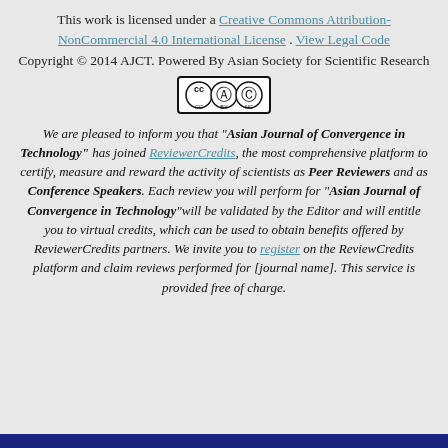This work is licensed under a Creative Commons Attribution-NonCommercial 4.0 International License . View Legal Code
Copyright © 2014 AJCT. Powered By Asian Society for Scientific Research
[Figure (logo): Creative Commons BY-NC license badge]
We are pleased to inform you that "Asian Journal of Convergence in Technology" has joined ReviewerCredits, the most comprehensive platform to certify, measure and reward the activity of scientists as Peer Reviewers and as Conference Speakers. Each review you will perform for "Asian Journal of Convergence in Technology"will be validated by the Editor and will entitle you to virtual credits, which can be used to obtain benefits offered by ReviewerCredits partners. We invite you to register on the ReviewCredits platform and claim reviews performed for [journal name]. This service is provided free of charge.